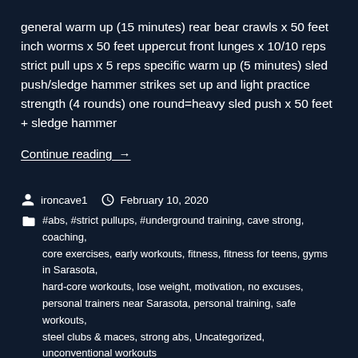general warm up (15 minutes) rear bear crawls x 50 feet inch worms x 50 feet uppercut front lunges x 10/10 reps strict pull ups x 5 reps specific warm up (5 minutes) sled push/sledge hammer strikes set up and light practice strength (4 rounds) one round=heavy sled push x 50 feet + sledge hammer
Continue reading →
ironcave1  February 10, 2020
#abs, #strict pullups, #underground training, cave strong, coaching, core exercises, early workouts, fitness, fitness for teens, gyms in Sarasota, hard-core workouts, lose weight, motivation, no excuses, personal trainers near Sarasota, personal training, safe workouts, steel clubs & maces, strong abs, Uncategorized, unconventional workouts
#motivation, Monday motivation, near Siesta Key, near the beach, senior fitness, workouts for teens
Leave a comment